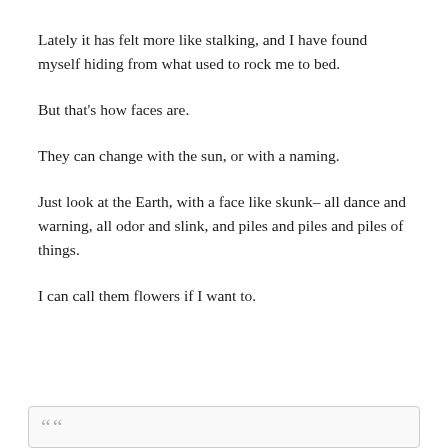Lately it has felt more like stalking, and I have found myself hiding from what used to rock me to bed.
But that’s how faces are.
They can change with the sun, or with a naming.
Just look at the Earth, with a face like skunk– all dance and warning, all odor and slink, and piles and piles and piles of things.
I can call them flowers if I want to.